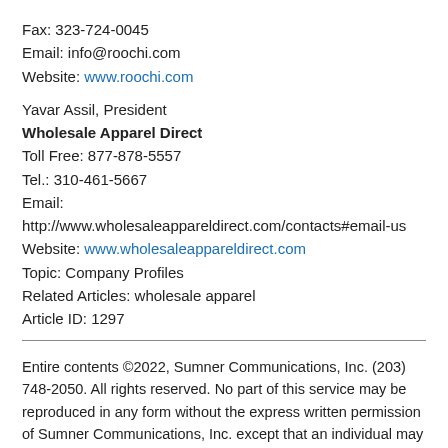Fax: 323-724-0045
Email: info@roochi.com
Website: www.roochi.com
Yavar Assil, President
Wholesale Apparel Direct
Toll Free: 877-878-5557
Tel.: 310-461-5667
Email:
http://www.wholesaleappareldirect.com/contacts#email-us
Website: www.wholesaleappareldirect.com
Topic: Company Profiles
Related Articles: wholesale apparel
Article ID: 1297
Entire contents ©2022, Sumner Communications, Inc. (203) 748-2050. All rights reserved. No part of this service may be reproduced in any form without the express written permission of Sumner Communications, Inc. except that an individual may download and/or forward articles via e-mail to a reasonable number of recipients for personal, non-commercial